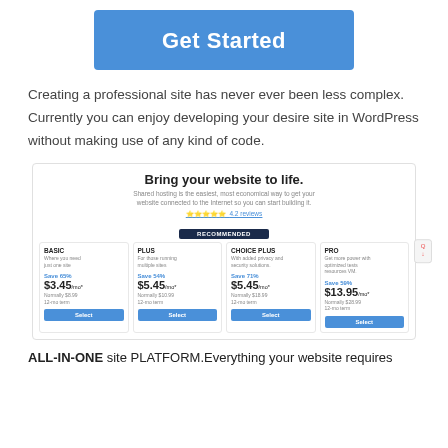Get Started
Creating a professional site has never ever been less complex. Currently you can enjoy developing your desire site in WordPress without making use of any kind of code.
[Figure (screenshot): Screenshot of a web hosting pricing page titled 'Bring your website to life.' with four plans: BASIC $3.45/mo (Save 65%), PLUS $5.45/mo (Save 54%), CHOICE PLUS $5.45/mo (Save 71%, recommended), PRO $13.95/mo (Save 59%). Each plan has a Select button.]
ALL-IN-ONE site PLATFORM.Everything your website requires